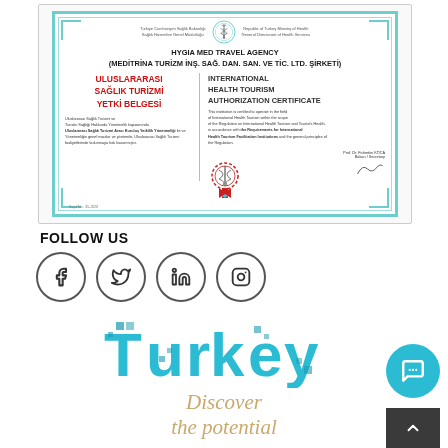[Figure (other): International Health Tourism Authorization Certificate issued to HYGIA MED TRAVEL AGENCY (MEDİTRİNA TURİZM İNŞ. SAĞ. DAN. SAN. VE TİC. LTD. ŞİRKETİ) by Republic of Turkey Ministry of Health, featuring bilingual text in Turkish (ULUSLARARASI SAĞLIK TURİZMİ YETKİ BELGESİ) and English (INTERNATIONAL HEALTH TOURISM AUTHORIZATION CERTIFICATE), with official seal and signature.]
FOLLOW US
[Figure (other): Social media icons in circles: Facebook (f), Twitter (bird), LinkedIn (in), Instagram (camera)]
[Figure (logo): Turkey tourism logo with decorative patterned lettering in teal/turquoise color reading 'Turkey']
Discover the potential